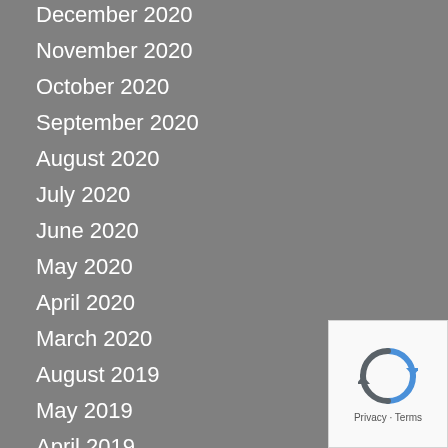December 2020
November 2020
October 2020
September 2020
August 2020
July 2020
June 2020
May 2020
April 2020
March 2020
August 2019
May 2019
April 2019
July 2018
[Figure (logo): reCAPTCHA badge with rotating arrows icon and Privacy - Terms text]